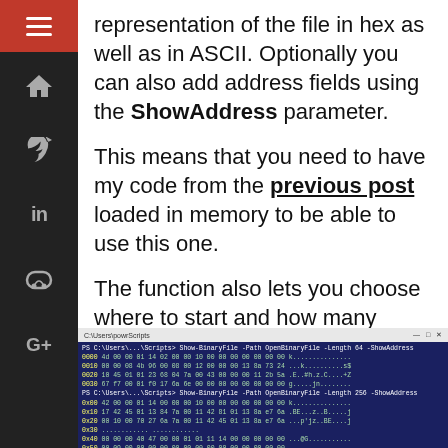representation of the file in hex as well as in ASCII. Optionally you can also add address fields using the ShowAddress parameter.
This means that you need to have my code from the previous post loaded in memory to be able to use this one.
The function also lets you choose where to start and how many bytes it should read, in case you only want to look at particular sections of the file.
[Figure (screenshot): PowerShell terminal window showing Show-BinaryFile command output with hex and ASCII representations of a binary file, including address fields via ShowAddress parameter]